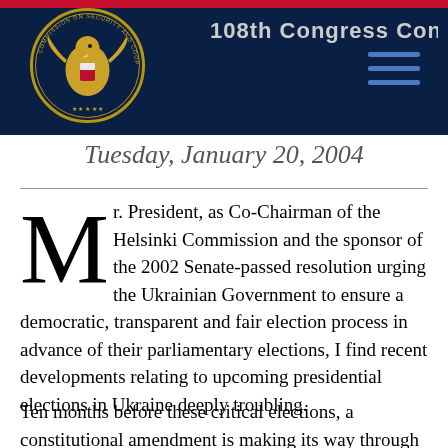108th Congress Conference — Tuesday, January 20, 2004
Mr. President, as Co-Chairman of the Helsinki Commission and the sponsor of the 2002 Senate-passed resolution urging the Ukrainian Government to ensure a democratic, transparent and fair election process in advance of their parliamentary elections, I find recent developments relating to upcoming presidential elections in Ukraine deeply troubling.
Ten months before these critical elections, a constitutional amendment is making its way through the Ukrainian parliament designed to ensure that the